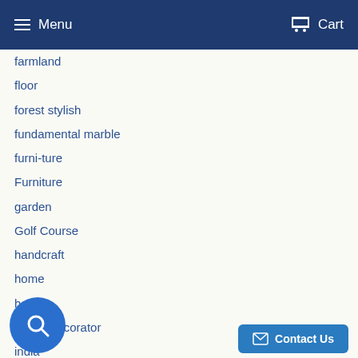Menu  Cart
farmland
floor
forest stylish
fundamental marble
furni-ture
Furniture
garden
Golf Course
handcraft
home
house
house decorator
india
in
ita